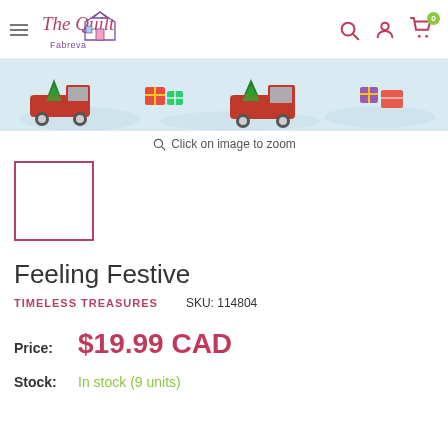The Quilt Fabreva — navigation header with hamburger menu, logo, search, account, and cart icons
[Figure (photo): Product image strip showing Christmas fabric with red vintage trucks, Christmas trees, and gifts on a light blue snowy background]
Click on image to zoom
[Figure (photo): Small thumbnail preview box with magenta border, blank/white interior]
Feeling Festive
TIMELESS TREASURES   SKU: 114804
Price: $19.99 CAD
Stock: In stock (9 units)